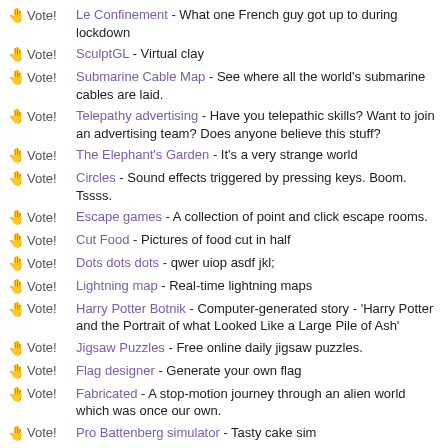Vote! Le Confinement - What one French guy got up to during lockdown
Vote! SculptGL - Virtual clay
Vote! Submarine Cable Map - See where all the world's submarine cables are laid.
Vote! Telepathy advertising - Have you telepathic skills? Want to join an advertising team? Does anyone believe this stuff?
Vote! The Elephant's Garden - It's a very strange world
Vote! Circles - Sound effects triggered by pressing keys. Boom. Tssss.
Vote! Escape games - A collection of point and click escape rooms.
Vote! Cut Food - Pictures of food cut in half
Vote! Dots dots dots - qwer uiop asdf jkl;
Vote! Lightning map - Real-time lightning maps
Vote! Harry Potter Botnik - Computer-generated story - 'Harry Potter and the Portrait of what Looked Like a Large Pile of Ash'
Vote! Jigsaw Puzzles - Free online daily jigsaw puzzles.
Vote! Flag designer - Generate your own flag
Vote! Fabricated - A stop-motion journey through an alien world which was once our own.
Vote! Pro Battenberg simulator - Tasty cake sim
Vote! Museum of Food Anomalies - Freaky food
Vote! Free moustache - Just for you, a free moustache!
Vote! Sidewalk Sidestep - Can you walk down the street without colliding with other people?
Vote! Inherently Funny - A large collection of funny things
Vote! Taco spin - A taco that spins.
Vote! Many golf - Multiplayer golf. Left/right to aim, hold space to take a shot.
Vote! Paper snowflake - Make a paper snowflake in your browser.